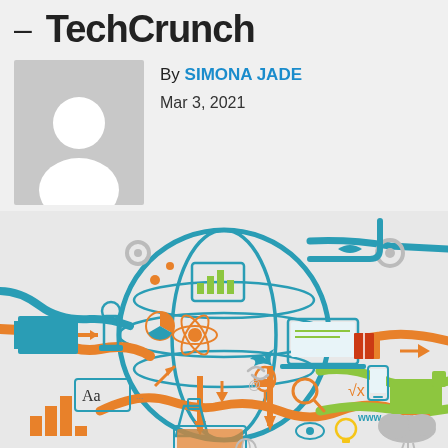— TechCrunch
[Figure (illustration): Author avatar placeholder: grey square with white silhouette of a person (head and shoulders)]
By SIMONA JADE
Mar 3, 2021
[Figure (illustration): Digital/technology infographic illustration showing a globe shape made of teal grid lines, filled with colorful icons representing technology, science, education, internet: laptop, microscope, atom, calculator, chemistry flask, bar chart, www text, math symbols, gears, arrows, typography Aa, pixel art hand, cloud, mobile phone, trophy, magnifier, etc. Colors: teal, orange, green, red, grey.]